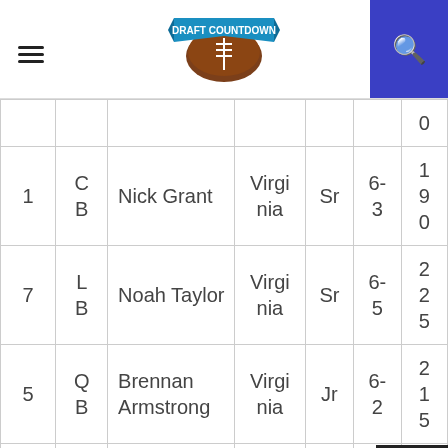Draft Countdown
| # | Pos | Name | School | Yr | Ht | Wt |
| --- | --- | --- | --- | --- | --- | --- |
|  |  |  |  |  |  | 0 |
| 1 | CB | Nick Grant | Virginia | Sr | 6-3 | 190 |
| 7 | LB | Noah Taylor | Virginia | Sr | 6-5 | 225 |
| 5 | QB | Brennan Armstrong | Virginia | Jr | 6-2 | 215 |
| 29 | S | Joey Blount | Virginia | Sr | 6-1 | 20 |